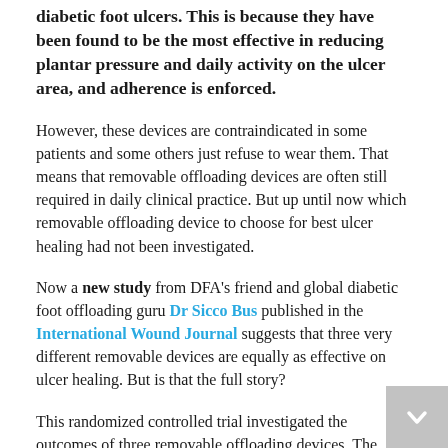diabetic foot ulcers. This is because they have been found to be the most effective in reducing plantar pressure and daily activity on the ulcer area, and adherence is enforced.
However, these devices are contraindicated in some patients and some others just refuse to wear them. That means that removable offloading devices are often still required in daily clinical practice. But up until now which removable offloading device to choose for best ulcer healing had not been investigated.
Now a new study from DFA's friend and global diabetic foot offloading guru Dr Sicco Bus published in the International Wound Journal suggests that three very different removable devices are equally as effective on ulcer healing. But is that the full story?
This randomized controlled trial investigated the outcomes of three removable offloading devices. The authors recruited 60 patients with non-infected plantar diabetic foot ulcers from Dutch and German...